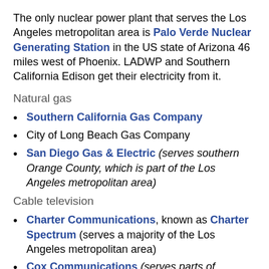The only nuclear power plant that serves the Los Angeles metropolitan area is Palo Verde Nuclear Generating Station in the US state of Arizona 46 miles west of Phoenix. LADWP and Southern California Edison get their electricity from it.
Natural gas
Southern California Gas Company
City of Long Beach Gas Company
San Diego Gas & Electric (serves southern Orange County, which is part of the Los Angeles metropolitan area)
Cable television
Charter Communications, known as Charter Spectrum (serves a majority of the Los Angeles metropolitan area)
Cox Communications (serves parts of